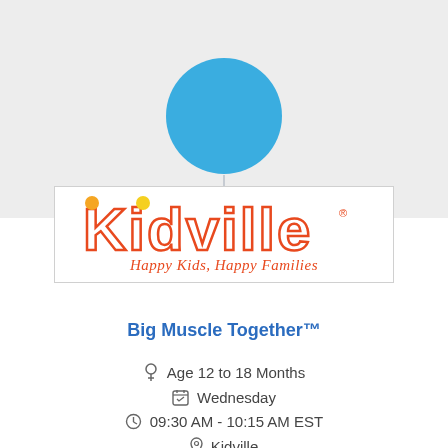[Figure (map): Blue circular map location pin marker on light gray background]
[Figure (logo): Kidville logo with orange outlined text, orange and yellow dot accents on letters K and i, tagline: Happy Kids, Happy Families]
Big Muscle Together™
Age 12 to 18 Months
Wednesday
09:30 AM - 10:15 AM EST
Kidville